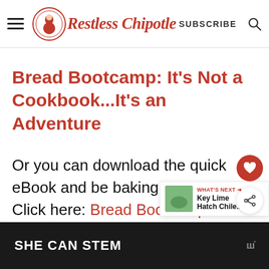Restless Chipotle — SUBSCRIBE
Bread Bootcamp: It's Not a Cookbook...It's an Adventure
Or you can download the quick eBook and be baking tonight! Click here: Bread Bootcamp
[Figure (other): What's Next overlay with Key Lime Hatch Chile... label and thumbnail]
SHE CAN STEM